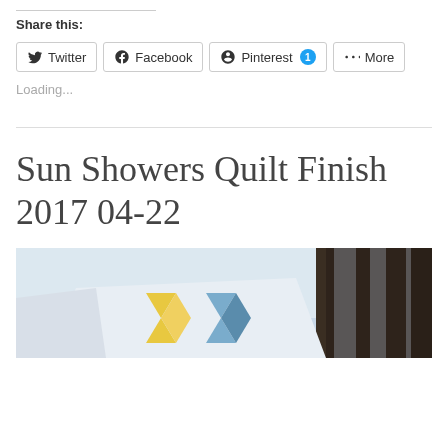Share this:
Twitter  Facebook  Pinterest 1  More
Loading...
Sun Showers Quilt Finish 2017 04-22
[Figure (photo): A quilt with blue and yellow pinwheel pattern draped outdoors with trees in the background]